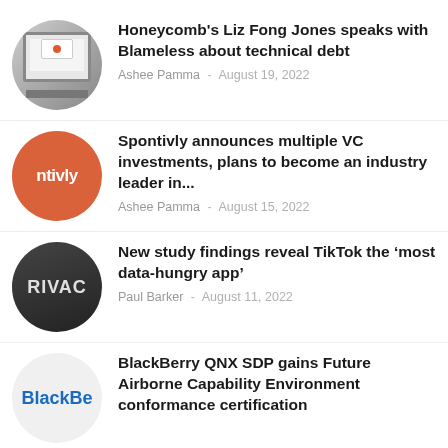[Figure (photo): Circular thumbnail showing a laptop with an error dialog on screen]
Honeycomb's Liz Fong Jones speaks with Blameless about technical debt
Ashee Pamma - August 19, 2022
[Figure (logo): Circular orange thumbnail with white text reading 'ntivly' (Spontivly brand logo)]
Spontivly announces multiple VC investments, plans to become an industry leader in...
Ashee Pamma - August 15, 2022
[Figure (photo): Circular dark thumbnail showing hands near a chalk PRIVACY sign]
New study findings reveal TikTok the ‘most data-hungry app’
Paul Barker - August 11, 2022
[Figure (logo): Circular light thumbnail with BlackBerry blue logo text 'BlackBe']
BlackBerry QNX SDP gains Future Airborne Capability Environment conformance certification